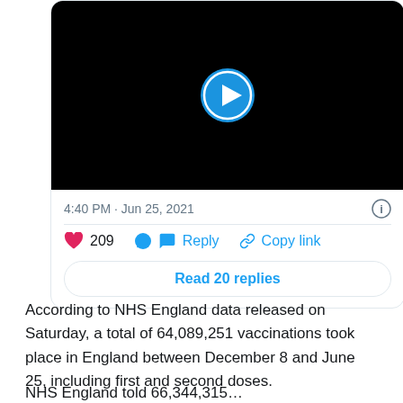[Figure (screenshot): Screenshot of a tweet showing a black video thumbnail with a blue play button, timestamp '4:40 PM · Jun 25, 2021', an info icon, a heart reaction showing 209 likes, Reply button, Copy link button, and a 'Read 20 replies' button.]
According to NHS England data released on Saturday, a total of 64,089,251 vaccinations took place in England between December 8 and June 25, including first and second doses.
NHS England told 66,344,315 …